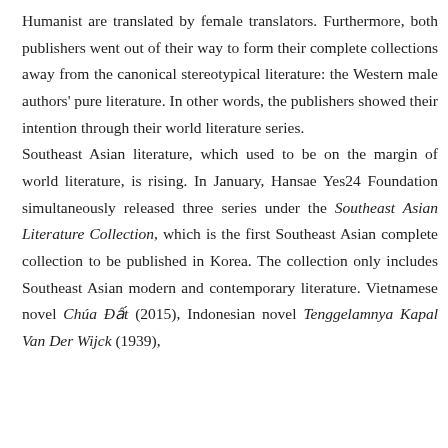Humanist are translated by female translators. Furthermore, both publishers went out of their way to form their complete collections away from the canonical stereotypical literature: the Western male authors' pure literature. In other words, the publishers showed their intention through their world literature series. Southeast Asian literature, which used to be on the margin of world literature, is rising. In January, Hansae Yes24 Foundation simultaneously released three series under the Southeast Asian Literature Collection, which is the first Southeast Asian complete collection to be published in Korea. The collection only includes Southeast Asian modern and contemporary literature. Vietnamese novel Chúa Đất (2015), Indonesian novel Tenggelamnya Kapal Van Der Wijck (1939),